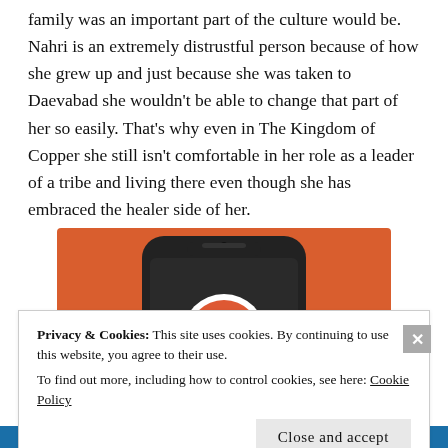family was an important part of the culture would be. Nahri is an extremely distrustful person because of how she grew up and just because she was taken to Daevabad she wouldn't be able to change that part of her so easily. That's why even in The Kingdom of Copper she still isn't comfortable in her role as a leader of a tribe and living there even though she has embraced the healer side of her.
[Figure (screenshot): DuckDuckGo app logo displayed on a smartphone screen against an orange background]
Privacy & Cookies: This site uses cookies. By continuing to use this website, you agree to their use. To find out more, including how to control cookies, see here: Cookie Policy